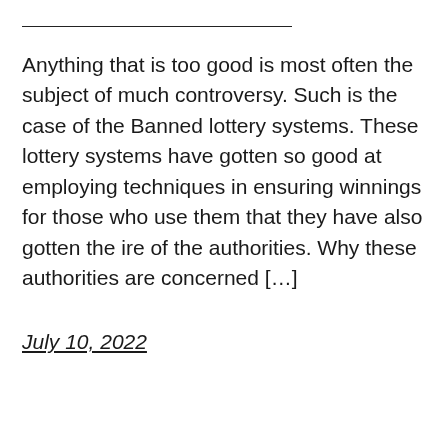Anything that is too good is most often the subject of much controversy. Such is the case of the Banned lottery systems. These lottery systems have gotten so good at employing techniques in ensuring winnings for those who use them that they have also gotten the ire of the authorities. Why these authorities are concerned […]
July 10, 2022